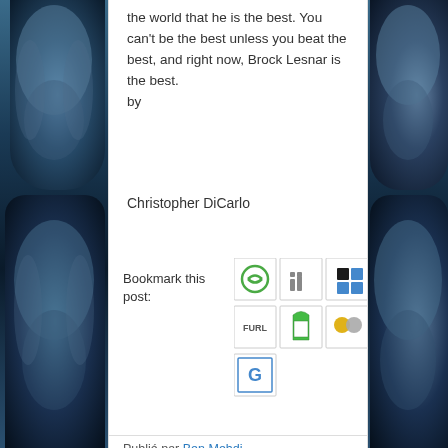the world that he is the best. You can't be the best unless you beat the best, and right now, Brock Lesnar is the best. by
Christopher DiCarlo
Bookmark this post:
[Figure (screenshot): Two rows of social bookmarking icons plus one more: StumbleUpon, LinkedIn, Delicious, Reddit, Yahoo, Furl, Torchmark, Digg-like, Simpy, Reddit alien, Google Bookmarks]
Publié par Ben Mehdi
Share to: 0
Ben Mehdi